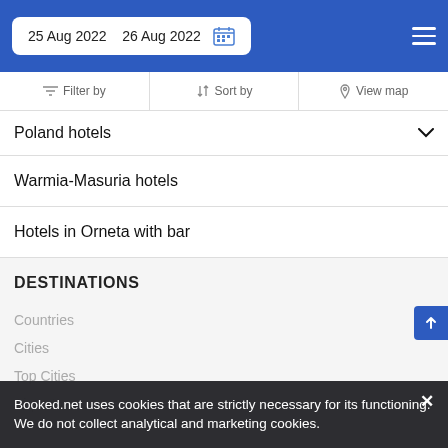25 Aug 2022   26 Aug 2022
Filter by   Sort by   View map
Poland hotels
Warmia-Masuria hotels
Hotels in Orneta with bar
DESTINATIONS
Countries
Cities
Top Cities
Airports
Booked.net uses cookies that are strictly necessary for its functioning. We do not collect analytical and marketing cookies.